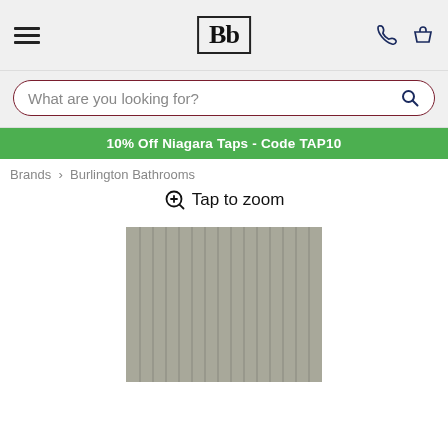[Figure (logo): Bb logo in a bordered box — Burlington Bathrooms brand logo]
What are you looking for?
10% Off Niagara Taps - Code TAP10
Brands > Burlington Bathrooms
Tap to zoom
[Figure (photo): Product image placeholder showing a grey panelled surface with vertical stripe texture]